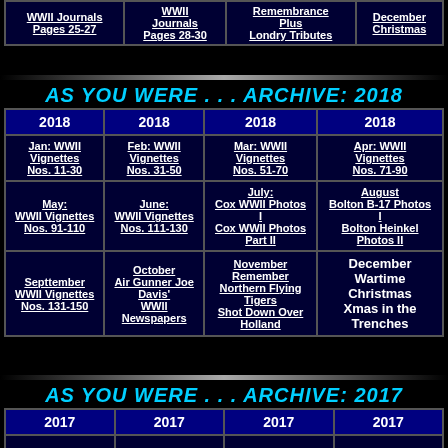|  |  |  |  |
| --- | --- | --- | --- |
| WWII Journals Pages 25-27 | WWII Journals Pages 28-30 | Remembrance Plus Londry Tributes | December Christmas |
AS YOU WERE . . . ARCHIVE: 2018
| 2018 | 2018 | 2018 | 2018 |
| --- | --- | --- | --- |
| Jan: WWII Vignettes Nos. 11-30 | Feb: WWII Vignettes Nos. 31-50 | Mar: WWII Vignettes Nos. 51-70 | Apr: WWII Vignettes Nos. 71-90 |
| May: WWII Vignettes Nos. 91-110 | June: WWII Vignettes Nos. 111-130 | July: Cox WWII Photos I Cox WWII Photos Part II | August Bolton B-17 Photos I Bolton Heinkel Photos II |
| Septtember WWII Vignettes Nos. 131-150 | October Air Gunner Joe Davis' WWII Newspapers | November Remember Northern Flying Tigers Shot Down Over Holland | December Wartime Christmas Xmas in the Trenches |
AS YOU WERE . . . ARCHIVE: 2017
| 2017 | 2017 | 2017 | 2017 |
| --- | --- | --- | --- |